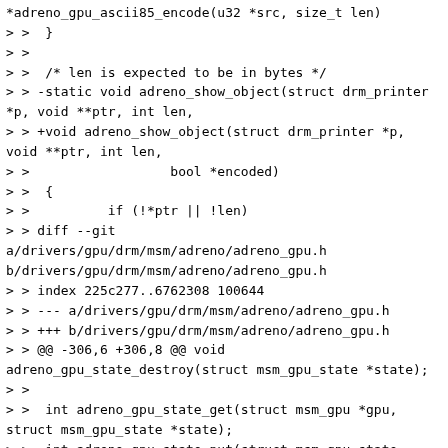*adreno_gpu_ascii85_encode(u32 *src, size_t len)
> >  }
> >
> >  /* len is expected to be in bytes */
> > -static void adreno_show_object(struct drm_printer *p, void **ptr, int len,
> > +void adreno_show_object(struct drm_printer *p, void **ptr, int len,
> >                          bool *encoded)
> >  {
> >          if (!*ptr || !len)
> > diff --git a/drivers/gpu/drm/msm/adreno/adreno_gpu.h b/drivers/gpu/drm/msm/adreno/adreno_gpu.h
> > index 225c277..6762308 100644
> > --- a/drivers/gpu/drm/msm/adreno/adreno_gpu.h
> > +++ b/drivers/gpu/drm/msm/adreno/adreno_gpu.h
> > @@ -306,6 +306,8 @@ void adreno_gpu_state_destroy(struct msm_gpu_state *state);
> >
> >  int adreno_gpu_state_get(struct msm_gpu *gpu, struct msm_gpu_state *state);
> >  int adreno_gpu_state_put(struct msm_gpu_state *state);
> > +void adreno_show_object(struct drm_printer *p, void **ptr, int len,
> > +                bool *encoded);
> >
> >  /*
> >   * Common helper function to initialize the